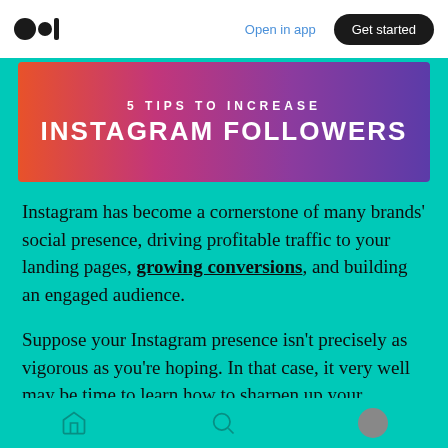Open in app | Get started
[Figure (infographic): Gradient banner from orange to purple with text: 5 TIPS TO INCREASE INSTAGRAM FOLLOWERS]
Instagram has become a cornerstone of many brands' social presence, driving profitable traffic to your landing pages, growing conversions, and building an engaged audience.
Suppose your Instagram presence isn't precisely as vigorous as you're hoping. In that case, it very well may be time to learn how to sharpen up your